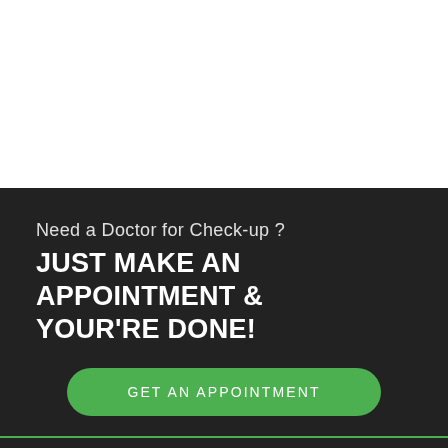Need a Doctor for Check-up ?
JUST MAKE AN APPOINTMENT & YOUR'RE DONE!
GET AN APPOINTMENT